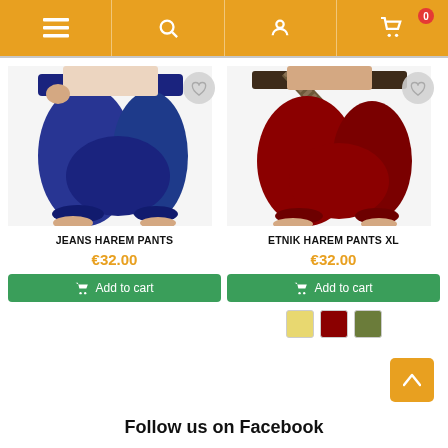Navigation bar with menu, search, account, and cart (0 items) icons
[Figure (photo): Navy blue harem pants (jeans style) worn by a person, white background]
JEANS HAREM PANTS
€32.00
Add to cart
[Figure (photo): Dark red / maroon ethnic harem pants XL worn by a person with decorative belt, white background]
ETNIK HAREM PANTS XL
€32.00
Add to cart
Color swatches: yellow, dark red, olive green
Follow us on Facebook